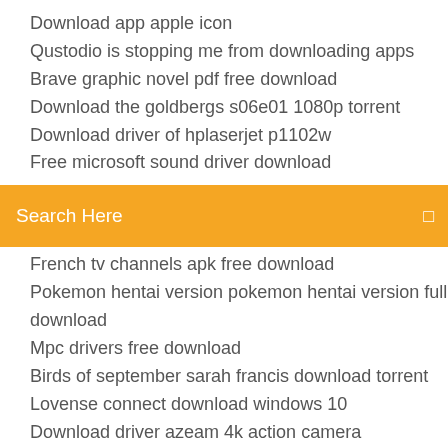Download app apple icon
Qustodio is stopping me from downloading apps
Brave graphic novel pdf free download
Download the goldbergs s06e01 1080p torrent
Download driver of hplaserjet p1102w
Free microsoft sound driver download
[Figure (screenshot): Orange search bar with text 'Search Here' and a small icon on the right]
French tv channels apk free download
Pokemon hentai version pokemon hentai version full download
Mpc drivers free download
Birds of september sarah francis download torrent
Lovense connect download windows 10
Download driver azeam 4k action camera
Asus prim x470 pro drivers download
Emuparadise files not downloading
The firm duff mcdonald pdf download